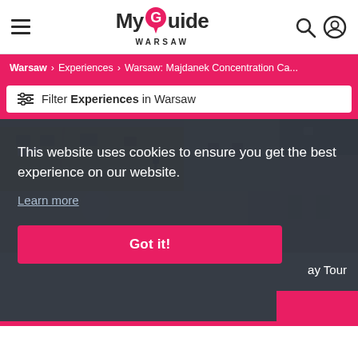MyGuide Warsaw
Warsaw > Experiences > Warsaw: Majdanek Concentration Ca...
Filter Experiences in Warsaw
[Figure (photo): Street view of old town Warsaw buildings with yellow facades]
This website uses cookies to ensure you get the best experience on our website.
Learn more
Got it!
ay Tour